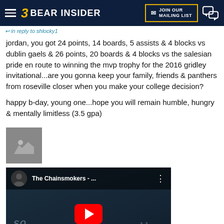Bear Insider — Join Our Mailing List
In reply to shlocky1
jordan, you got 24 points, 14 boards, 5 assists & 4 blocks vs dublin gaels & 26 points, 20 boards & 4 blocks vs the salesian pride en route to winning the mvp trophy for the 2016 gridley invitational...are you gonna keep your family, friends & panthers from roseville closer when you make your college decision?

happy b-day, young one...hope you will remain humble, hungry & mentally limitless (3.5 gpa)
[Figure (photo): Image placeholder icon (mountain/landscape icon in grey box)]
[Figure (screenshot): YouTube video embed showing The Chainsmokers music video with play button, vevo watermark, and chalkboard-style text including 'so', 'closer', 'pull me']